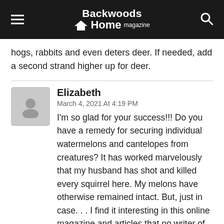Backwoods Home magazine
hogs, rabbits and even deters deer. If needed, add a second strand higher up for deer.
Elizabeth
March 4, 2021 At 4:19 PM
I'm so glad for your success!!! Do you have a remedy for securing individual watermelons and cantelopes from creatures? It has worked marvelously that my husband has shot and killed every squirrel here. My melons have otherwise remained intact. But, just in case. . . I find it interesting in this online magazine and articles that no writer of articles likes to answer questions or otherwise reply, whatsoever. Why is that? Jack Clay-Atkinson loves to reply and help others out.